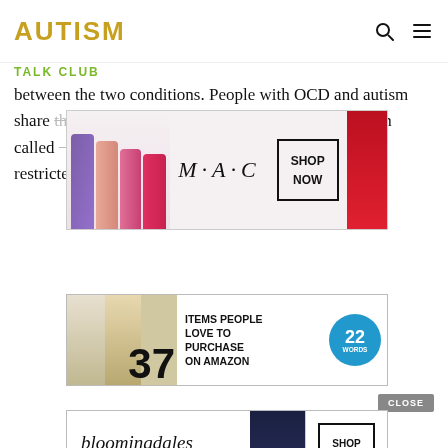AUTISM
TALK CLUB
between the two conditions. People with OCD and autism share the trait of increased gray matter in a brain region called [ad overlay] restricted and repetitive behaviors.
[Figure (advertisement): MAC cosmetics ad with lipsticks and SHOP NOW button]
[Figure (advertisement): 22 Words ad: 37 Items People Love to Purchase on Amazon]
[Figure (advertisement): Bloomingdales ad: View Today's Top Deals! SHOP NOW >]